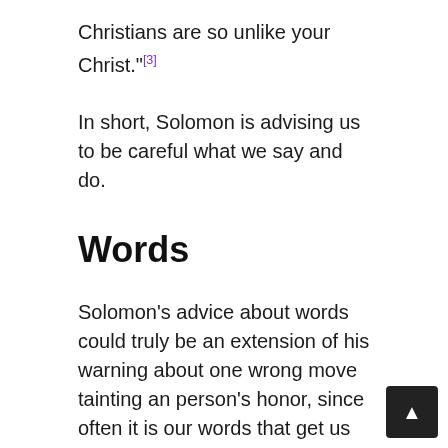Christians are so unlike your Christ."[3]
In short, Solomon is advising us to be careful what we say and do.
Words
Solomon's advice about words could truly be an extension of his warning about one wrong move tainting an person's honor, since often it is our words that get us in trouble. I've placed it in it's on section only to highlight Solomon's description of the words that come from the wise versus the foolish.
Wise men speak graciously; they know when be silent and how to speak out of love insted hate. The more I read Proverbs and Ecclesiastes,